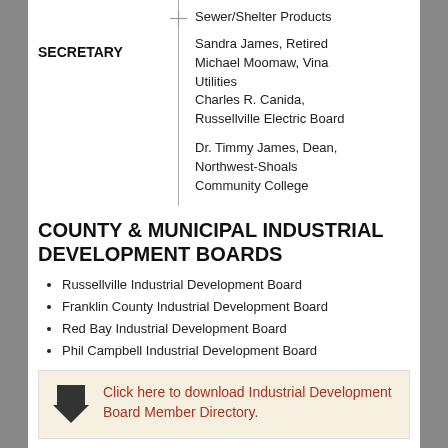Sewer/Shelter Products
SECRETARY
Sandra James, Retired
Michael Moomaw, Vina Utilities
Charles R. Canida, Russellville Electric Board

Dr. Timmy James, Dean, Northwest-Shoals Community College
COUNTY & MUNICIPAL INDUSTRIAL DEVELOPMENT BOARDS
Russellville Industrial Development Board
Franklin County Industrial Development Board
Red Bay Industrial Development Board
Phil Campbell Industrial Development Board
Click here to download Industrial Development Board Member Directory.